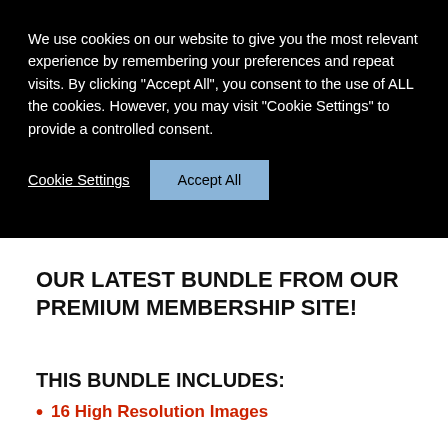We use cookies on our website to give you the most relevant experience by remembering your preferences and repeat visits. By clicking "Accept All", you consent to the use of ALL the cookies. However, you may visit "Cookie Settings" to provide a controlled consent.
Cookie Settings
Accept All
OUR LATEST BUNDLE FROM OUR PREMIUM MEMBERSHIP SITE!
THIS BUNDLE INCLUDES:
16 High Resolution Images